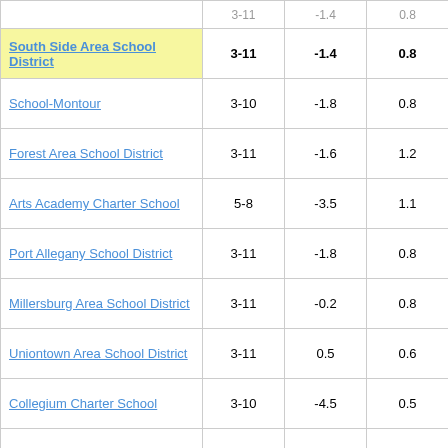| School/District | Grades | Col1 | Col2 | Score |
| --- | --- | --- | --- | --- |
| South Side Area School District | 3-11 | -1.4 | 0.8 | -1.85 |
| School-Montour | 3-10 | -1.8 | 0.8 | -2.37 |
| Forest Area School District | 3-11 | -1.6 | 1.2 | -1.32 |
| Arts Academy Charter School | 5-8 | -3.5 | 1.1 | -3.11 |
| Port Allegany School District | 3-11 | -1.8 | 0.8 | -2.33 |
| Millersburg Area School District | 3-11 | -0.2 | 0.8 | -0.29 |
| Uniontown Area School District | 3-11 | 0.5 | 0.6 | 0.79 |
| Collegium Charter School | 3-10 | -4.5 | 0.5 | -9.56 |
| Universal Institute Charter | 3-8 | 2.4 | 0.7 | 3.38 |